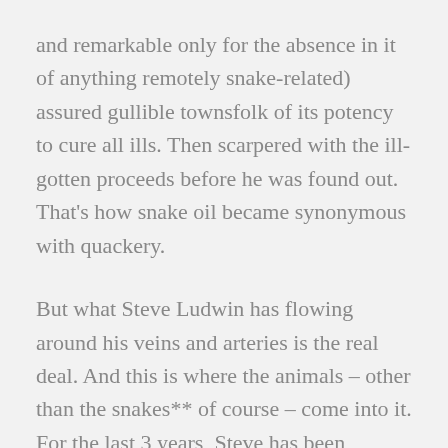and remarkable only for the absence in it of anything remotely snake-related) assured gullible townsfolk of its potency to cure all ills. Then scarpered with the ill-gotten proceeds before he was found out. That's how snake oil became synonymous with quackery.
But what Steve Ludwin has flowing around his veins and arteries is the real deal. And this is where the animals – other than the snakes** of course – come into it. For the last 3 years, Steve has been helping Danish